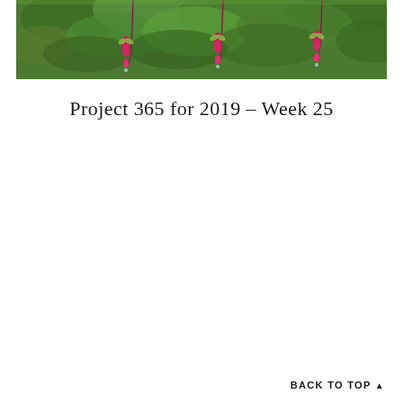[Figure (photo): Close-up photograph of fuchsia flowers hanging down against a backdrop of dark green leaves. The flowers are bright pink/magenta in color, dangling on thin red stems.]
Project 365 for 2019 – Week 25
BACK TO TOP ▲